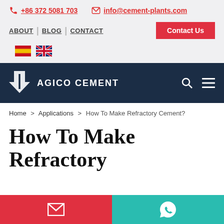+86 372 5081 703   info@cement-plants.com
ABOUT | BLOG | CONTACT    Contact Us
[Figure (logo): Spanish and UK flag icons for language selection]
[Figure (logo): AGICO CEMENT logo with downward arrow icon on dark navy background, with search and menu icons]
Home > Applications > How To Make Refractory Cement?
How To Make Refractory
[Figure (infographic): Bottom bar with red email button and teal WhatsApp button]